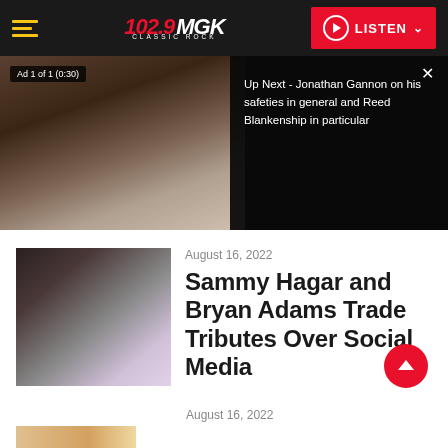102.9 MGK CLASSIC ROCK | LISTEN
[Figure (screenshot): Video player showing a person at what appears to be an NFL Draft event. An overlay shows 'Ad 1 of 1 (0:30)' badge. An 'Up Next' panel on the right reads: 'Up Next - Jonathan Gannon on his safeties in general and Reed Blankenship in particular'. A close (X) button is in the top-right corner of the Up Next panel.]
August 16, 2022
Sammy Hagar and Bryan Adams Trade Tributes Over Social Media
August 16, 2022